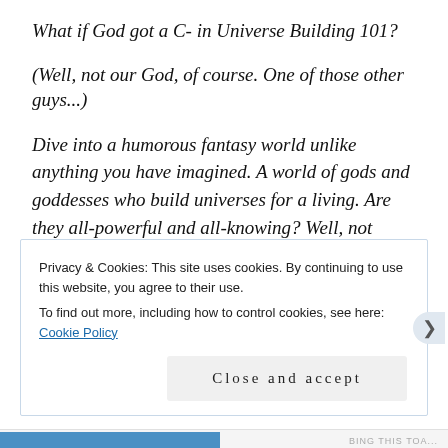What if God got a C- in Universe Building 101?
(Well, not our God, of course. One of those other guys...)
Dive into a humorous fantasy world unlike anything you have imagined. A world of gods and goddesses who build universes for a living. Are they all-powerful and all-knowing? Well, not exactly...
Privacy & Cookies: This site uses cookies. By continuing to use this website, you agree to their use. To find out more, including how to control cookies, see here: Cookie Policy
Close and accept